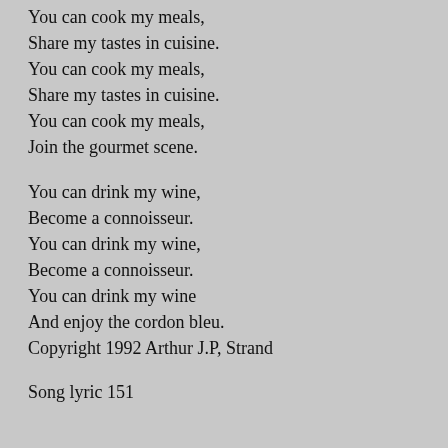You can cook my meals,
Share my tastes in cuisine.
You can cook my meals,
Share my tastes in cuisine.
You can cook my meals,
Join the gourmet scene.
You can drink my wine,
Become a connoisseur.
You can drink my wine,
Become a connoisseur.
You can drink my wine
And enjoy the cordon bleu.
Copyright 1992 Arthur J.P, Strand
Song lyric 151